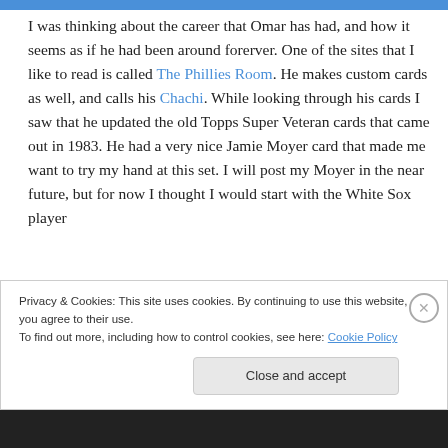I was thinking about the career that Omar has had, and how it seems as if he had been around forerver. One of the sites that I like to read is called The Phillies Room. He makes custom cards as well, and calls his Chachi. While looking through his cards I saw that he updated the old Topps Super Veteran cards that came out in 1983. He had a very nice Jamie Moyer card that made me want to try my hand at this set. I will post my Moyer in the near future, but for now I thought I would start with the White Sox player
Privacy & Cookies: This site uses cookies. By continuing to use this website, you agree to their use.
To find out more, including how to control cookies, see here: Cookie Policy